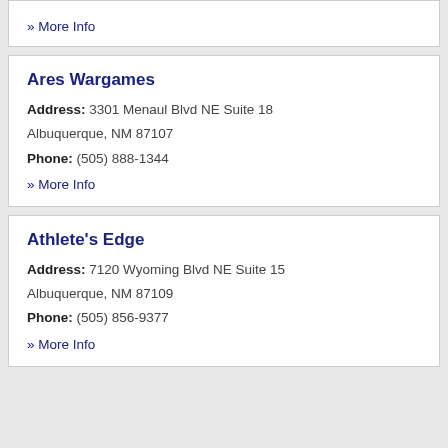» More Info
Ares Wargames
Address: 3301 Menaul Blvd NE Suite 18 Albuquerque, NM 87107
Phone: (505) 888-1344
» More Info
Athlete's Edge
Address: 7120 Wyoming Blvd NE Suite 15 Albuquerque, NM 87109
Phone: (505) 856-9377
» More Info